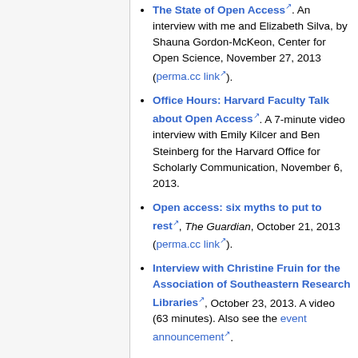The State of Open Access. An interview with me and Elizabeth Silva, by Shauna Gordon-McKeon, Center for Open Science, November 27, 2013 (perma.cc link).
Office Hours: Harvard Faculty Talk about Open Access. A 7-minute video interview with Emily Kilcer and Ben Steinberg for the Harvard Office for Scholarly Communication, November 6, 2013.
Open access: six myths to put to rest, The Guardian, October 21, 2013 (perma.cc link).
Interview with Christine Fruin for the Association of Southeastern Research Libraries, October 23, 2013. A video (63 minutes). Also see the event announcement.